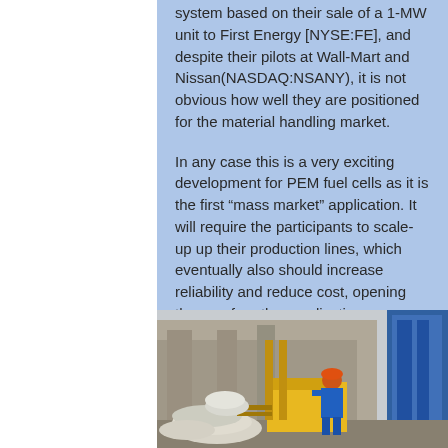system based on their sale of a 1-MW unit to First Energy [NYSE:FE], and despite their pilots at Wall-Mart and Nissan(NASDAQ:NSANY), it is not obvious how well they are positioned for the material handling market.

In any case this is a very exciting development for PEM fuel cells as it is the first “mass market” application. It will require the participants to scale-up up their production lines, which eventually also should increase reliability and reduce cost, opening the way for other applications.
[Figure (photo): A worker in a hard hat and blue uniform operates a forklift in an industrial or warehouse setting, with bags of material on the forks and industrial equipment/building in the background.]